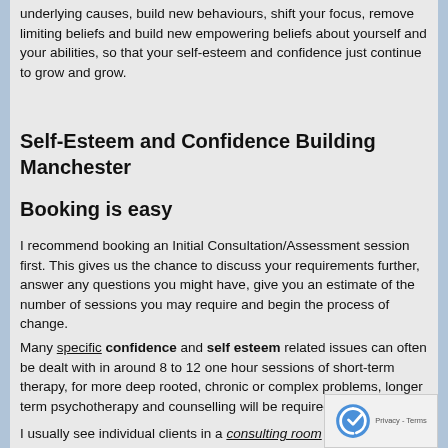underlying causes, build new behaviours, shift your focus, remove limiting beliefs and build new empowering beliefs about yourself and your abilities, so that your self-esteem and confidence just continue to grow and grow.
Self-Esteem and Confidence Building Manchester
Booking is easy
I recommend booking an Initial Consultation/Assessment session first. This gives us the chance to discuss your requirements further, answer any questions you might have, give you an estimate of the number of sessions you may require and begin the process of change.
Many specific confidence and self esteem related issues can often be dealt with in around 8 to 12 one hour sessions of short-term therapy, for more deep rooted, chronic or complex problems, longer term psychotherapy and counselling will be required.
I usually see individual clients in a consulting room in my home located on a quiet residential street